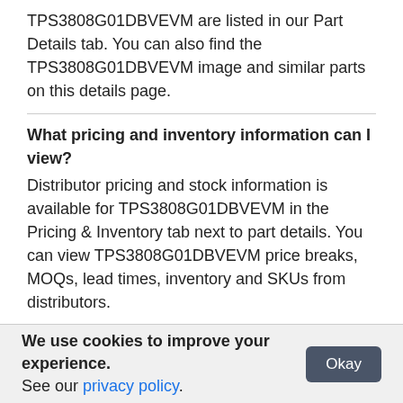TPS3808G01DBVEVM are listed in our Part Details tab. You can also find the TPS3808G01DBVEVM image and similar parts on this details page.
What pricing and inventory information can I view?
Distributor pricing and stock information is available for TPS3808G01DBVEVM in the Pricing & Inventory tab next to part details. You can view TPS3808G01DBVEVM price breaks, MOQs, lead times, inventory and SKUs from distributors.
What category does TPS3808G01DBVEVM fall under?
The TPS3808G01DBVEVM is listed under Development Boards Evaluation Tools > Power Management
We use cookies to improve your experience. See our privacy policy.